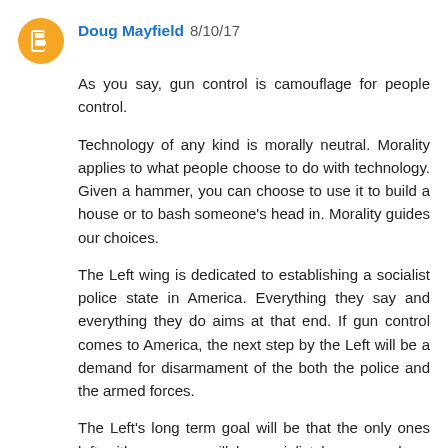Doug Mayfield 8/10/17
As you say, gun control is camouflage for people control.
Technology of any kind is morally neutral. Morality applies to what people choose to do with technology. Given a hammer, you can choose to use it to build a house or to bash someone's head in. Morality guides our choices.
The Left wing is dedicated to establishing a socialist police state in America. Everything they say and everything they do aims at that end. If gun control comes to America, the next step by the Left will be a demand for disarmament of the both the police and the armed forces.
The Left's long term goal will be that the only ones left with weapons will be socialist heroes such as Antifa, BLM, etc. and with the proper training and indoctrination, certain government agencies under the direct control of the Left.
Reply